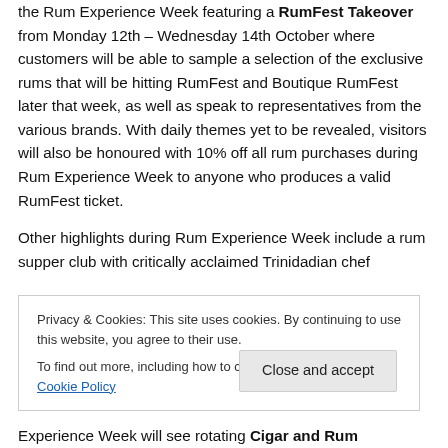the Rum Experience Week featuring a RumFest Takeover from Monday 12th – Wednesday 14th October where customers will be able to sample a selection of the exclusive rums that will be hitting RumFest and Boutique RumFest later that week, as well as speak to representatives from the various brands. With daily themes yet to be revealed, visitors will also be honoured with 10% off all rum purchases during Rum Experience Week to anyone who produces a valid RumFest ticket.
Other highlights during Rum Experience Week include a rum supper club with critically acclaimed Trinidadian chef
Privacy & Cookies: This site uses cookies. By continuing to use this website, you agree to their use. To find out more, including how to control cookies, see here: Cookie Policy
Close and accept
Experience Week will see rotating Cigar and Rum